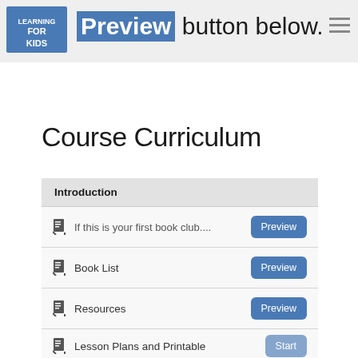Preview button below.
Course Curriculum
Introduction
If this is your first book club....
Book List
Resources
Lesson Plans and Printable